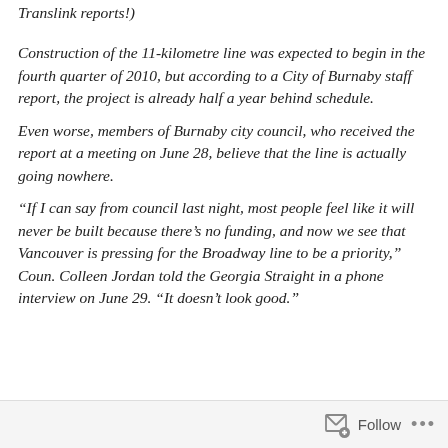Translink reports!)
Construction of the 11-kilometre line was expected to begin in the fourth quarter of 2010, but according to a City of Burnaby staff report, the project is already half a year behind schedule.
Even worse, members of Burnaby city council, who received the report at a meeting on June 28, believe that the line is actually going nowhere.
“If I can say from council last night, most people feel like it will never be built because there’s no funding, and now we see that Vancouver is pressing for the Broadway line to be a priority,” Coun. Colleen Jordan told the Georgia Straight in a phone interview on June 29. “It doesn’t look good.”
Follow •••